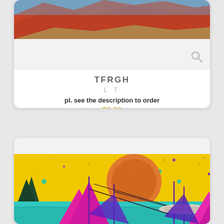[Figure (photo): Top portion of a product card showing a colorful mountain/landscape photo with red, green and blue sky tones, partially cut off at top]
TFRGH
L T
pl. see the description to order
$0.00
Posted 3.9 years ago
[Figure (illustration): Colorful surrealist artwork showing a large orange sun over a yellow speckled sky with abstract sailboats, teal water, and colorful geometric shapes in magenta, purple, green and blue tones]